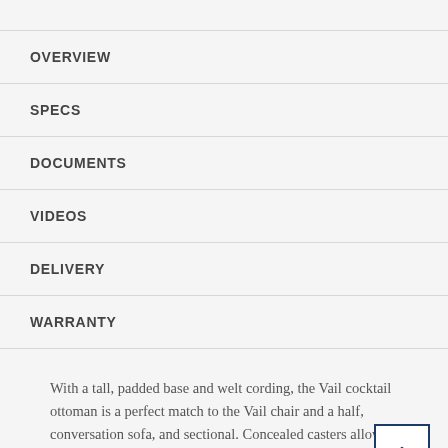OVERVIEW
SPECS
DOCUMENTS
VIDEOS
DELIVERY
WARRANTY
With a tall, padded base and welt cording, the Vail cocktail ottoman is a perfect match to the Vail chair and a half, conversation sofa, and sectional. Concealed casters allow you to easily move this piece throughout